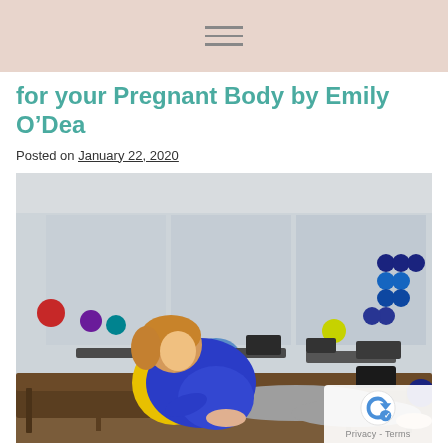for your Pregnant Body by Emily O’Dea
Posted on January 22, 2020
[Figure (photo): A pregnant woman in a blue long-sleeve top and grey leggings sits on a Pilates reformer machine, leaning back on a yellow exercise ball, cradling her belly. The studio background shows mirrors, colorful exercise balls on racks, and multiple reformer machines.]